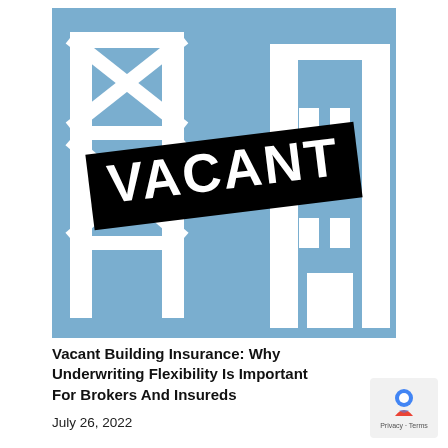[Figure (illustration): Illustration of a vacant building with a blue background showing a simplified white building outline with structural cross-beams and windows, overlaid with a black banner sign reading 'VACANT' in large bold white text at a slight angle.]
Vacant Building Insurance: Why Underwriting Flexibility Is Important For Brokers And Insureds
July 26, 2022